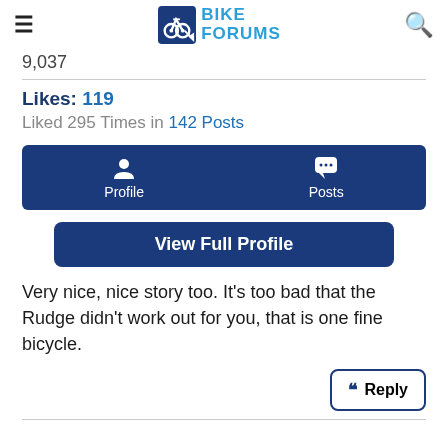Bike Forums
9,037
Likes: 119
Liked 295 Times in 142 Posts
[Figure (screenshot): Navigation bar with Profile and Posts icons on dark blue background]
View Full Profile
Very nice, nice story too. It's too bad that the Rudge didn't work out for you, that is one fine bicycle.
Reply